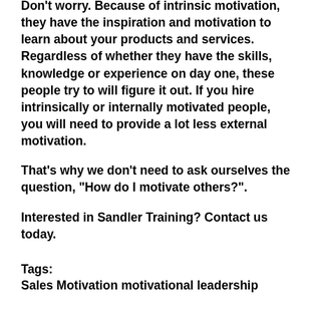Don't worry. Because of intrinsic motivation, they have the inspiration and motivation to learn about your products and services. Regardless of whether they have the skills, knowledge or experience on day one, these people try to will figure it out. If you hire intrinsically or internally motivated people, you will need to provide a lot less external motivation.
That's why we don't need to ask ourselves the question, "How do I motivate others?".
Interested in Sandler Training? Contact us today.
Tags:
Sales Motivation motivational leadership